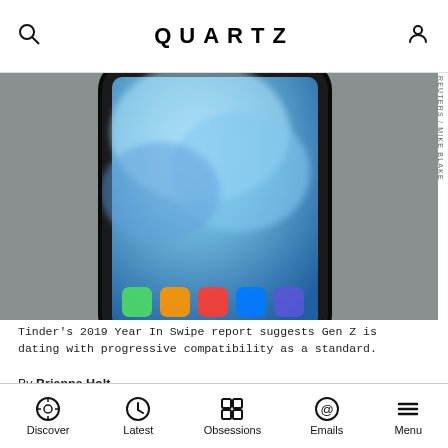QUARTZ
[Figure (photo): Close-up blurred photo of a smartphone (iPhone) with colorful app icons visible at the bottom of the screen, set against a gray background.]
Tinder's 2019 Year In Swipe report suggests Gen Z is dating with progressive compatibility as a standard.
By Brianna Holt
Published December 17, 2019 · Last updated July 21, 2022 · This article is more than 2 years old.
For Generation Z, social and environmental causes aren't just reasons to protest or topics to be promoted on social media, but also matters they're incorporating
Discover  Latest  Obsessions  Emails  Menu